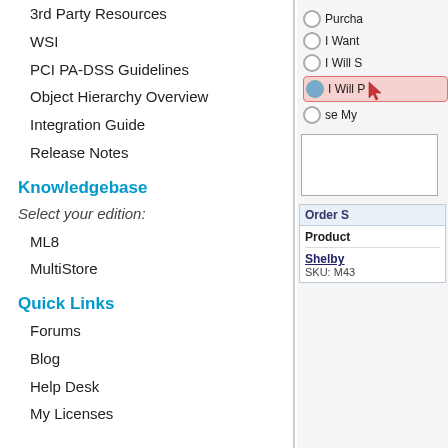3rd Party Resources
WSI
PCI PA-DSS Guidelines
Object Hierarchy Overview
Integration Guide
Release Notes
Knowledgebase
Select your edition:
ML8
MultiStore
Quick Links
Forums
Blog
Help Desk
My Licenses
[Figure (screenshot): Right panel showing radio button options (Purcha..., I Want..., I Will S..., I Will P... highlighted, Use My...) with a text input box and an Order Summary section showing Product with Shelby... SKU: M43...]